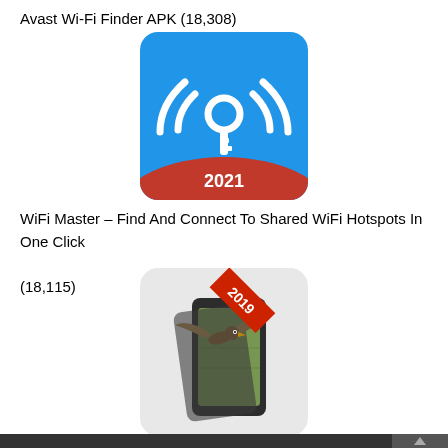Avast Wi-Fi Finder APK (18,308)
[Figure (illustration): Avast Wi-Fi Finder app icon showing WiFi signal with key symbol and '2021' text on blue and red background]
WiFi Master – Find And Connect To Shared WiFi Hotspots In One Click
(18,115)
[Figure (illustration): 3D Wallpaper Parallax app icon showing a bird flying out of a smartphone with '2019' ribbon banner]
3D Wallpaper Parallax – 4D Backgrounds (17,496)